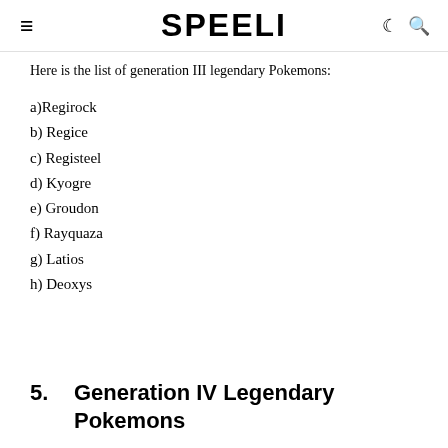SPEELI
Here is the list of generation III legendary Pokemons:
a)Regirock
b) Regice
c) Registeel
d) Kyogre
e) Groudon
f) Rayquaza
g) Latios
h) Deoxys
5. Generation IV Legendary Pokemons